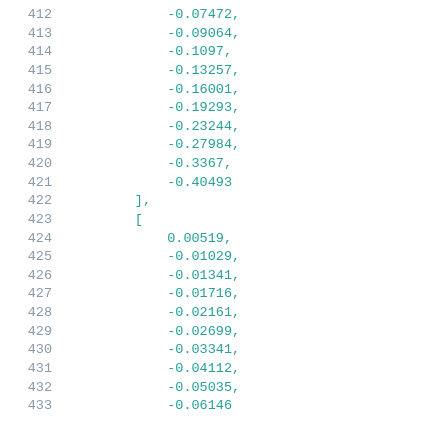412   -0.07472,
413   -0.09064,
414   -0.1097,
415   -0.13257,
416   -0.16001,
417   -0.19293,
418   -0.23244,
419   -0.27984,
420   -0.3367,
421   -0.40493
422   ],
423   [
424   0.00519,
425   -0.01029,
426   -0.01341,
427   -0.01716,
428   -0.02161,
429   -0.02699,
430   -0.03341,
431   -0.04112,
432   -0.05035,
433   -0.06146